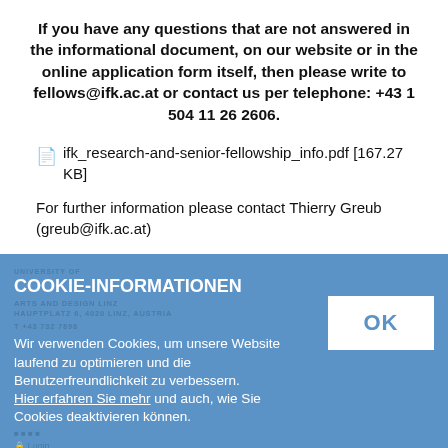If you have any questions that are not answered in the informational document, on our website or in the online application form itself, then please write to fellows@ifk.ac.at or contact us per telephone: +43 1 504 11 26 2606.
ifk_research-and-senior-fellowship_info.pdf [167.27 KB]
For further information please contact Thierry Greub (greub@ifk.ac.at)
COOKIE-INFORMATIONEN
Wir verwenden Cookies, um unsere Website laufend zu optimieren und die Benutzerfreundlichkeit zu verbessern.
Hier erfahren Sie mehr und auch, wie Sie Cookies deaktivieren können.